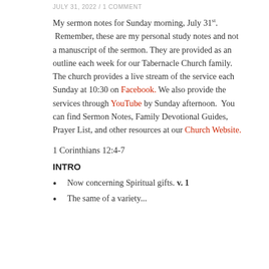JULY 31, 2022 / 1 COMMENT
My sermon notes for Sunday morning, July 31st. Remember, these are my personal study notes and not a manuscript of the sermon. They are provided as an outline each week for our Tabernacle Church family. The church provides a live stream of the service each Sunday at 10:30 on Facebook. We also provide the services through YouTube by Sunday afternoon. You can find Sermon Notes, Family Devotional Guides, Prayer List, and other resources at our Church Website.
1 Corinthians 12:4-7
INTRO
Now concerning Spiritual gifts. v. 1
The same of a variety...